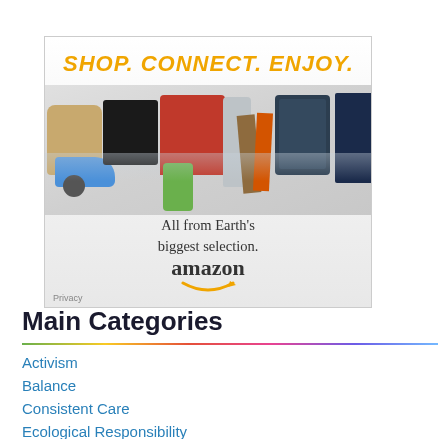[Figure (advertisement): Amazon advertisement with orange bold text 'SHOP. CONNECT. ENJOY.' at top, product images including purse, shoes, gaming console, mixer, smoothie, thermos, books, tablet, and movie case, tagline 'All from Earth's biggest selection.' and Amazon logo with smile arrow]
Main Categories
Activism
Balance
Consistent Care
Ecological Responsibility